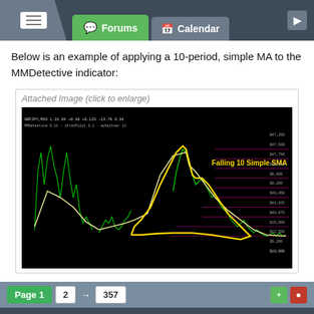Forums | Calendar
Below is an example of applying a 10-period, simple MA to the MMDetective indicator:
Attached Image (click to enlarge)
[Figure (screenshot): A financial trading chart on a black background showing green candlestick/line data with a yellow highlighted area showing a 'Falling 10 Simple SMA' annotated in yellow text, with pink/magenta horizontal lines and a white/yellow moving average line overlaid.]
Page 1  2  →  357